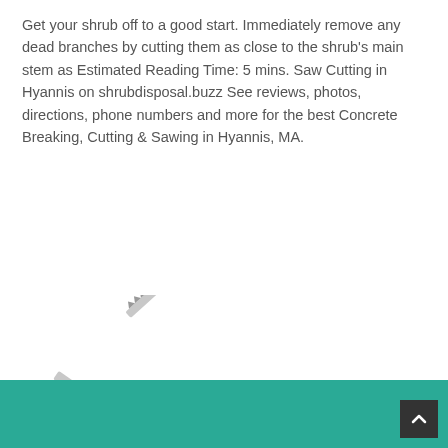Get your shrub off to a good start. Immediately remove any dead branches by cutting them as close to the shrub's main stem as Estimated Reading Time: 5 mins. Saw Cutting in Hyannis on shrubdisposal.buzz See reviews, photos, directions, phone numbers and more for the best Concrete Breaking, Cutting & Sawing in Hyannis, MA.
[Figure (photo): Three folding pruning saws with black and green handles (Silverline brand) shown in different positions — open with blade extended, folded, and partially folded.]